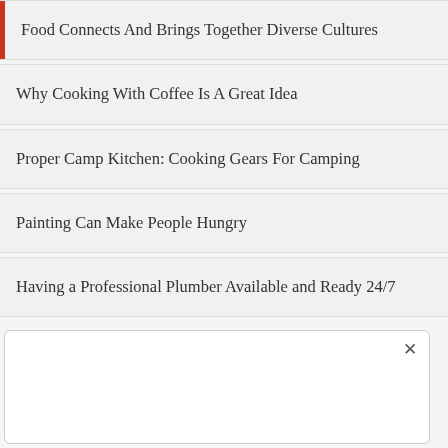Food Connects And Brings Together Diverse Cultures
Why Cooking With Coffee Is A Great Idea
Proper Camp Kitchen: Cooking Gears For Camping
Painting Can Make People Hungry
Having a Professional Plumber Available and Ready 24/7
[Figure (screenshot): White popup overlay with close button (×) in the lower portion of the screen]